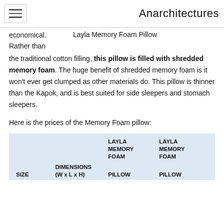Anarchitectures
economical.
Rather than
the traditional cotton filling, this pillow is filled with shredded memory foam. The huge benefit of shredded memory foam is it won't ever get clumped as other materials do. This pillow is thinner than the Kapok, and is best suited for side sleepers and stomach sleepers.
Layla Memory Foam Pillow
Here is the prices of the Memory Foam pillow:
| SIZE | DIMENSIONS (W x L x H) | LAYLA MEMORY FOAM PILLOW | LAYLA MEMORY FOAM PILLOW |
| --- | --- | --- | --- |